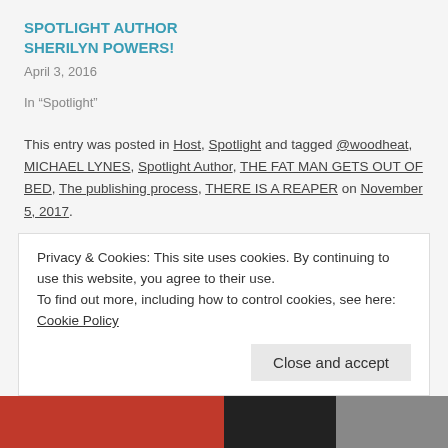SPOTLIGHT AUTHOR SHERILYN POWERS!
April 3, 2016
In "Spotlight"
This entry was posted in Host, Spotlight and tagged @woodheat, MICHAEL LYNES, Spotlight Author, THE FAT MAN GETS OUT OF BED, The publishing process, THERE IS A REAPER on November 5, 2017.
Privacy & Cookies: This site uses cookies. By continuing to use this website, you agree to their use.
To find out more, including how to control cookies, see here: Cookie Policy
Close and accept